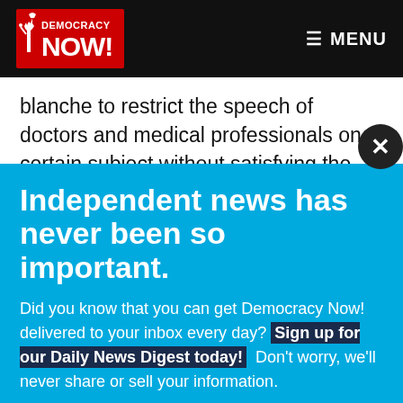Democracy Now! | MENU
blanche to restrict the speech of doctors and medical professionals on a certain subject without satisfying the
[Figure (screenshot): Democracy Now! newsletter signup modal overlay with blue background. Contains title 'Independent news has never been so important.', body text about daily inbox delivery with highlighted link 'Sign up for our Daily News Digest today!', email input field, and SIGN UP! button.]
Independent news has never been so important.
Did you know that you can get Democracy Now! delivered to your inbox every day? Sign up for our Daily News Digest today! Don't worry, we'll never share or sell your information.